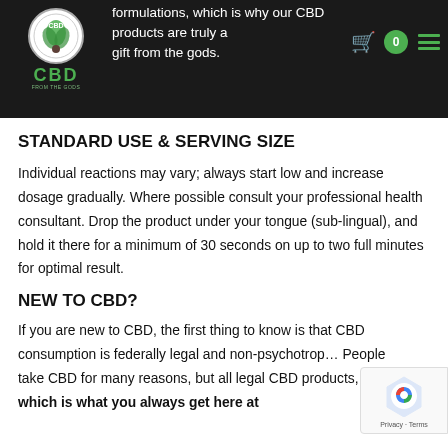formulations, which is why our CBD products are truly a gift from the gods.
STANDARD USE & SERVING SIZE
Individual reactions may vary; always start low and increase dosage gradually. Where possible consult your professional health consultant. Drop the product under your tongue (sub-lingual), and hold it there for a minimum of 30 seconds on up to two full minutes for optimal result.
NEW TO CBD?
If you are new to CBD, the first thing to know is that CBD consumption is federally legal and non-psychotrop... People take CBD for many reasons, but all legal CBD products, which is what you always get here at